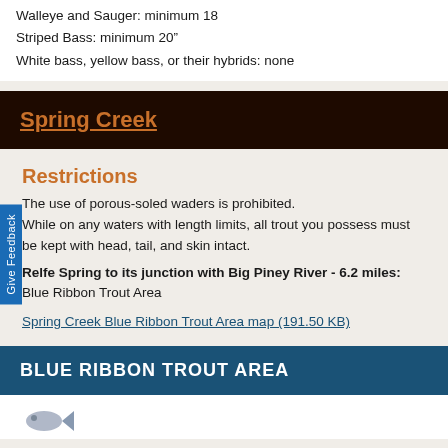Walleye and Sauger: minimum 18
Striped Bass: minimum 20"
White bass, yellow bass, or their hybrids: none
Spring Creek
Restrictions
The use of porous-soled waders is prohibited. While on any waters with length limits, all trout you possess must be kept with head, tail, and skin intact.
Relfe Spring to its junction with Big Piney River - 6.2 miles: Blue Ribbon Trout Area
Spring Creek Blue Ribbon Trout Area map (191.50 KB)
BLUE RIBBON TROUT AREA
[Figure (illustration): Fish icon/illustration partially visible at bottom of page]